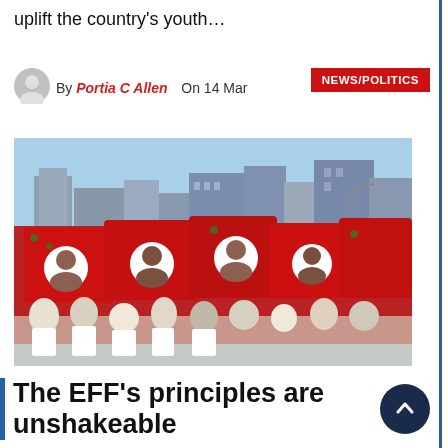uplift the country's youth…
By Portia C Allen   On 14 Mar
NEWS/POLITICS
[Figure (photo): Crowd of people waving large red EFF (Economic Freedom Fighters) flags with portrait prints, marching in a city street with tall buildings visible in the background under a clear blue sky.]
The EFF's principles are unshakeable